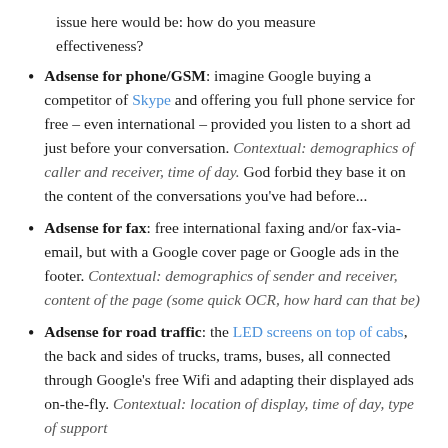issue here would be: how do you measure effectiveness?
Adsense for phone/GSM: imagine Google buying a competitor of Skype and offering you full phone service for free – even international – provided you listen to a short ad just before your conversation. Contextual: demographics of caller and receiver, time of day. God forbid they base it on the content of the conversations you've had before...
Adsense for fax: free international faxing and/or fax-via-email, but with a Google cover page or Google ads in the footer. Contextual: demographics of sender and receiver, content of the page (some quick OCR, how hard can that be)
Adsense for road traffic: the LED screens on top of cabs, the back and sides of trucks, trams, buses, all connected through Google's free Wifi and adapting their displayed ads on-the-fly. Contextual: location of display, time of day, type of support